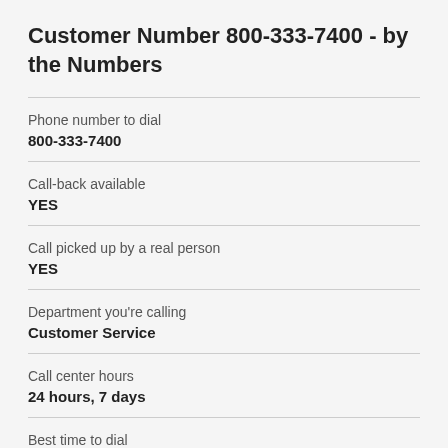Customer Number 800-333-7400 - by the Numbers
| Field | Value |
| --- | --- |
| Phone number to dial | 800-333-7400 |
| Call-back available | YES |
| Call picked up by a real person | YES |
| Department you're calling | Customer Service |
| Call center hours | 24 hours, 7 days |
| Best time to dial | 3pm |